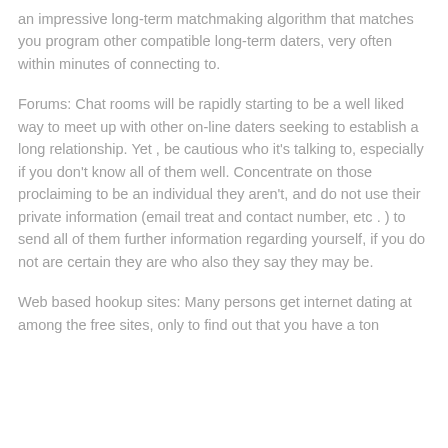an impressive long-term matchmaking algorithm that matches you program other compatible long-term daters, very often within minutes of connecting to.
Forums: Chat rooms will be rapidly starting to be a well liked way to meet up with other on-line daters seeking to establish a long relationship. Yet , be cautious who it's talking to, especially if you don't know all of them well. Concentrate on those proclaiming to be an individual they aren't, and do not use their private information (email treat and contact number, etc . ) to send all of them further information regarding yourself, if you do not are certain they are who also they say they may be.
Web based hookup sites: Many persons get internet dating at among the free sites, only to find out that you have a ton